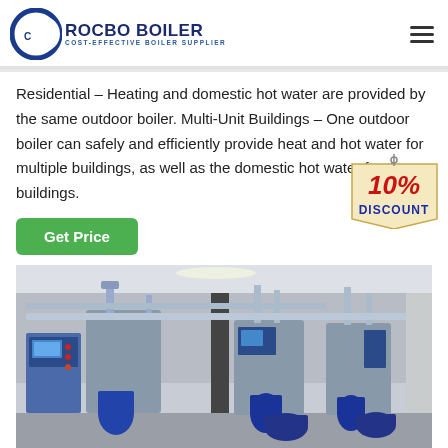ROCBO BOILER — COST-EFFECTIVE BOILER SUPPLIER
Residential – Heating and domestic hot water are provided by the same outdoor boiler. Multi-Unit Buildings – One outdoor boiler can safely and efficiently provide heat and hot water for multiple buildings, as well as the domestic hot water for those buildings.
[Figure (infographic): 10% DISCOUNT badge with red text on a tag-shaped background]
[Figure (photo): Industrial boiler room with multiple blue and grey boilers, control panels, pipes, and equipment arranged in a row inside a white-walled facility.]